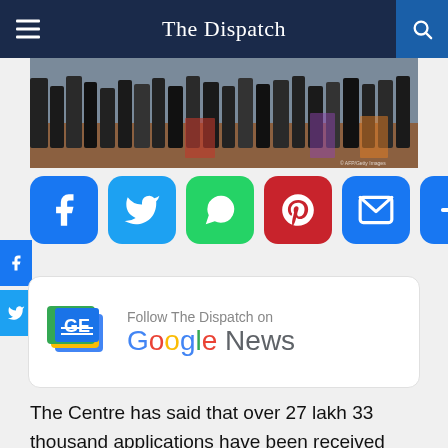The Dispatch
[Figure (photo): Crowd scene photograph, people walking, outdoor setting]
[Figure (infographic): Social share buttons: Facebook, Twitter, WhatsApp, Pinterest, Email, More]
[Figure (logo): Follow The Dispatch on Google News]
The Centre has said that over 27 lakh 33 thousand applications have been received under Pradhan Mantri Street Vendor's